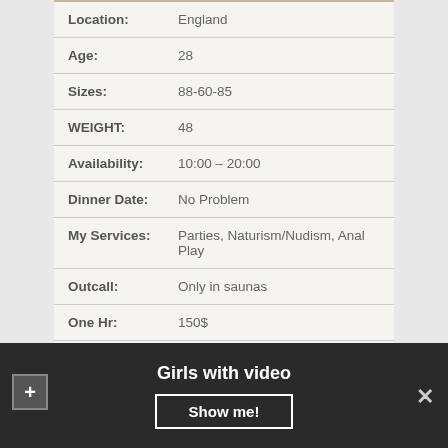| Location: | England |
| Age: | 28 |
| Sizes: | 88-60-85 |
| WEIGHT: | 48 |
| Availability: | 10:00 – 20:00 |
| Dinner Date: | No Problem |
| My Services: | Parties, Naturism/Nudism, Anal Play |
| Outcall: | Only in saunas |
| One Hr: | 150$ |
| Couples: | 430$ |
Girls with video
Show me!